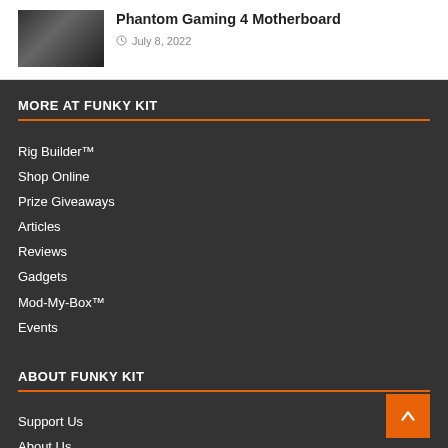Phantom Gaming 4 Motherboard
July 8, 2022
MORE AT FUNKY KIT
Rig Builder™
Shop Online
Prize Giveaways
Articles
Reviews
Gadgets
Mod-My-Box™
Events
ABOUT FUNKY KIT
Support Us
About Us
Meet the Team
Advertise